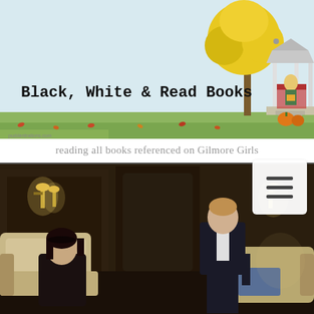[Figure (illustration): Black, White & Read Books blog header illustration showing an autumn scene with a yellow tree, a gazebo, a person reading on steps, pumpkins, and fallen leaves on green grass. Text reads 'Black, White & Read Books' and attribution 'puddentrations.com']
reading all books referenced on Gilmore Girls
[Figure (screenshot): Screenshot from Gilmore Girls TV show showing a dark interior scene with a young woman sitting in an armchair and a man in a suit standing nearby; wall sconces provide warm lighting.]